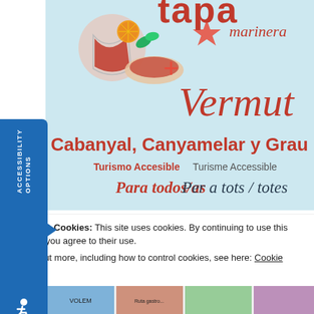[Figure (illustration): Promotional poster for 'Tapa Marinera + Vermut' event in Cabanyal, Canyamelar y Grau. Light blue background with food and drink illustrations (vermut glass, tapas). Text reads: tapa marinera + Vermut, Cabanyal, Canyamelar y Grau, Turismo Accesible / Turisme Accessible, Para todos/as Per a tots / totes.]
Privacy & Cookies: This site uses cookies. By continuing to use this website, you agree to their use.
To find out more, including how to control cookies, see here: Cookie Policy
Close and accept
[Figure (photo): Bottom strip showing thumbnails of additional content images]